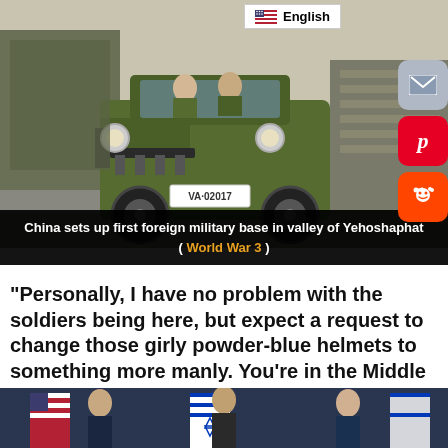[Figure (photo): Military jeep/vehicle with license plate VA-02017 driving past rows of soldiers in uniform during a military parade or inspection. The vehicle is olive green/camouflage colored with personnel aboard.]
English
China sets up first foreign military base in valley of Yehoshaphat ( World War 3 )
“Personally, I have no problem with the soldiers being here, but expect a request to change those girly powder-blue helmets to something more manly. You’re in the Middle East now!”
[Figure (photo): Bottom portion of image showing people standing in front of American and Israeli flags.]